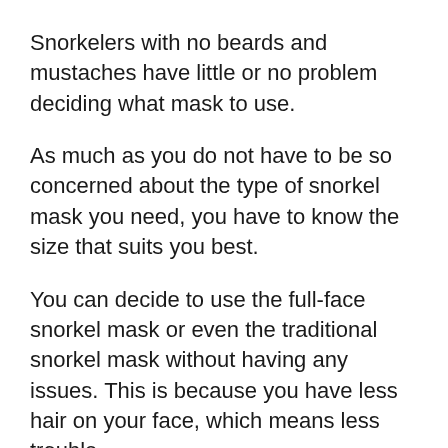Snorkelers with no beards and mustaches have little or no problem deciding what mask to use.
As much as you do not have to be so concerned about the type of snorkel mask you need, you have to know the size that suits you best.
You can decide to use the full-face snorkel mask or even the traditional snorkel mask without having any issues. This is because you have less hair on your face, which means less trouble.
The full-face mask is the best choice for you if you have beards and mustaches. The full-